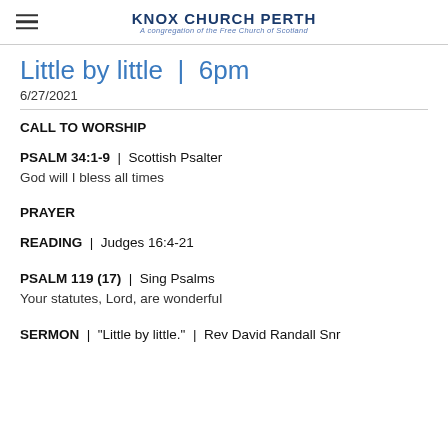KNOX CHURCH PERTH — A congregation of the Free Church of Scotland
Little by little | 6pm
6/27/2021
CALL TO WORSHIP
PSALM 34:1-9 | Scottish Psalter
God will I bless all times
PRAYER
READING | Judges 16:4-21
PSALM 119 (17) | Sing Psalms
Your statutes, Lord, are wonderful
SERMON | "Little by little." | Rev David Randall Snr